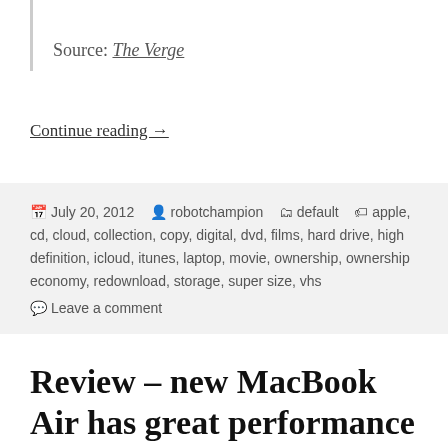Source: The Verge
Continue reading →
July 20, 2012  robotchampion  default  apple, cd, cloud, collection, copy, digital, dvd, films, hard drive, high definition, icloud, itunes, laptop, movie, ownership, ownership economy, redownload, storage, super size, vhs
Leave a comment
Review – new MacBook Air has great performance